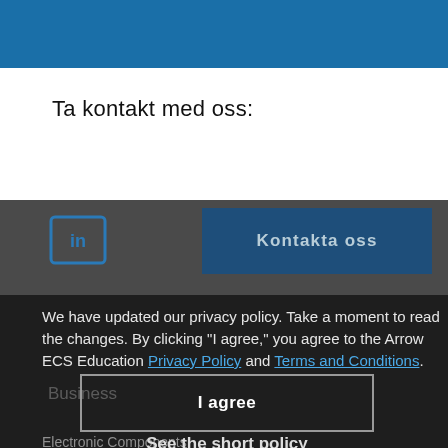Ta kontakt med oss:
[Figure (screenshot): LinkedIn chat bubble icon and Kontakta oss button on gray background]
We have updated our privacy policy. Take a moment to read the changes. By clicking "I agree," you agree to the Arrow ECS Education Privacy Policy and Terms and Conditions.
I agree
Business
Electronic Components
See the short policy